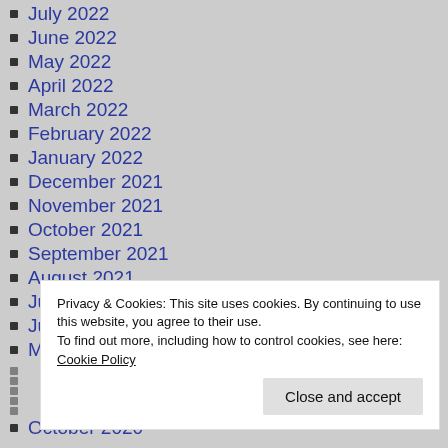July 2022
June 2022
May 2022
April 2022
March 2022
February 2022
January 2022
December 2021
November 2021
October 2021
September 2021
August 2021
July 2021
June 2021
May 2021
October 2020
Privacy & Cookies: This site uses cookies. By continuing to use this website, you agree to their use. To find out more, including how to control cookies, see here: Cookie Policy